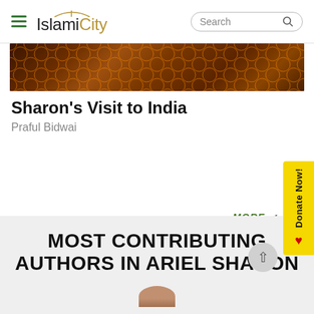IslamiCity — Search bar navigation header
[Figure (photo): Decorative Islamic geometric pattern in dark brown and orange tones, serving as article header image]
Sharon's Visit to India
Praful Bidwai
MORE →
MOST CONTRIBUTING AUTHORS IN ARIEL SHARON
[Figure (photo): Partial avatar/portrait photo at the bottom of the page]